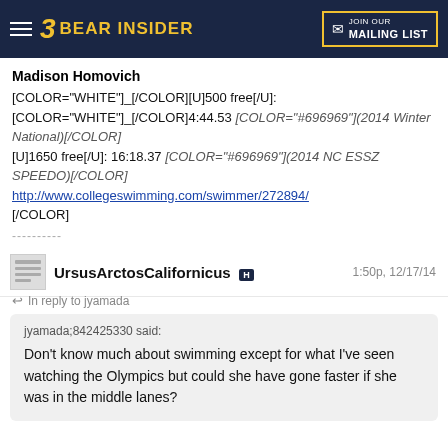Bear Insider — JOIN OUR MAILING LIST
Madison Homovich
[COLOR="WHITE"]_[/COLOR][U]500 free[/U]:
[COLOR="WHITE"]_[/COLOR]4:44.53 [COLOR="#696969"](2014 Winter National)[/COLOR]
[U]1650 free[/U]: 16:18.37 [COLOR="#696969"](2014 NC ESSZ SPEEDO)[/COLOR]
http://www.collegeswimming.com/swimmer/272894/
[/COLOR]
----------
UrsusArctosCalifornicus H — 1:50p, 12/17/14
In reply to jyamada
jyamada;842425330 said:
Don't know much about swimming except for what I've seen watching the Olympics but could she have gone faster if she was in the middle lanes?